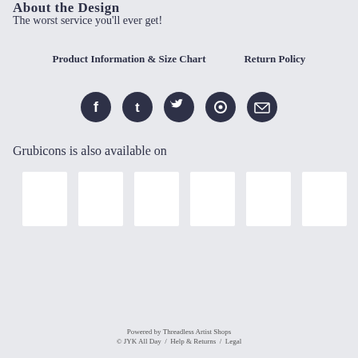About the Design
The worst service you'll ever get!
Product Information & Size Chart      Return Policy
[Figure (infographic): Five social media icon buttons (Facebook, Tumblr, Twitter, Pinterest, Email) as dark navy circles with white icons]
Grubicons is also available on
[Figure (infographic): Six white thumbnail image placeholders in a horizontal row]
Powered by Threadless Artist Shops
© JYK All Day  /  Help & Returns  /  Legal